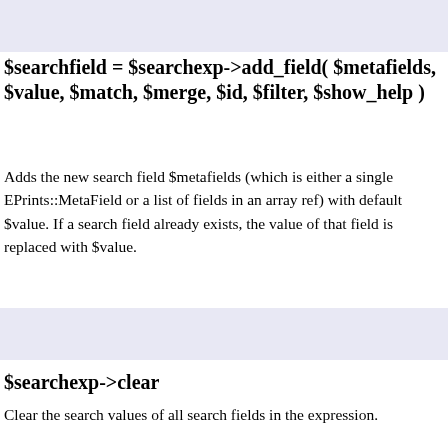$searchfield = $searchexp->add_field( $metafields, $value, $match, $merge, $id, $filter, $show_help )
Adds the new search field $metafields (which is either a single EPrints::MetaField or a list of fields in an array ref) with default $value. If a search field already exists, the value of that field is replaced with $value.
$searchexp->clear
Clear the search values of all search fields in the expression.
Resets satisfy_all to true.